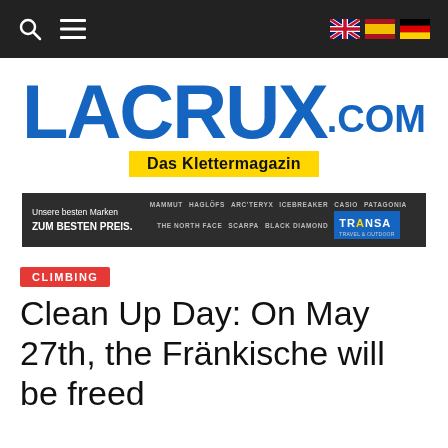Navigation bar with search, menu, and language flags (UK, Spain, Germany)
[Figure (logo): LACRUX.COM logo in bold blue with yellow tagline 'Das Klettermagazin']
[Figure (infographic): Advertisement banner: 'Unsere besten Marken ZUM BESTEN PREIS.' with brand logos including Mammut, Haglöfs, Arc'teryx, Icebreaker, Patagonia, The North Face, Scarpa, Black Diamond, Transa Travel & Outdoor]
CLIMBING
Clean Up Day: On May 27th, the Fränkische will be freed